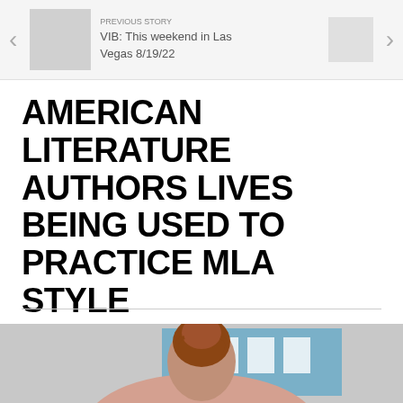VIB: This weekend in Las Vegas 8/19/22
AMERICAN LITERATURE AUTHORS LIVES BEING USED TO PRACTICE MLA STYLE
English classes prepare for college
[Figure (photo): Photo of a student from behind, with reddish-brown hair pulled up, seated in what appears to be a classroom. Blue bulletin board visible in background.]